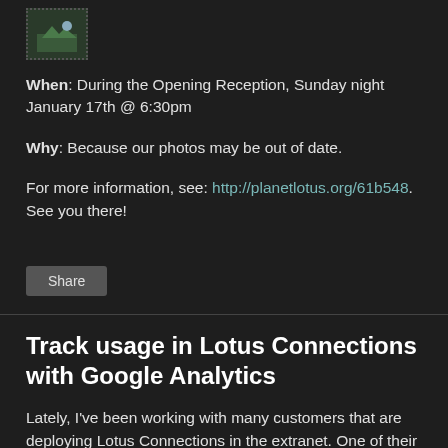[Figure (photo): Small avatar/thumbnail image with dotted border, showing a landscape or nature image]
When: During the Opening Reception, Sunday night January 17th @ 6:30pm
Why: Because our photos may be out of date.
For more information, see: http://planetlotus.org/61b548. See you there!
Share
Track usage in Lotus Connections with Google Analytics
Lately, I've been working with many customers that are deploying Lotus Connections in the extranet. One of their common interests is being able to see and report on usage, page views, unique users, etc.